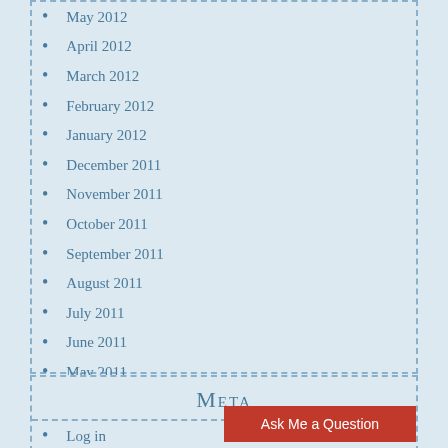May 2012
April 2012
March 2012
February 2012
January 2012
December 2011
November 2011
October 2011
September 2011
August 2011
July 2011
June 2011
May 2011
April 2011
Meta
Log in